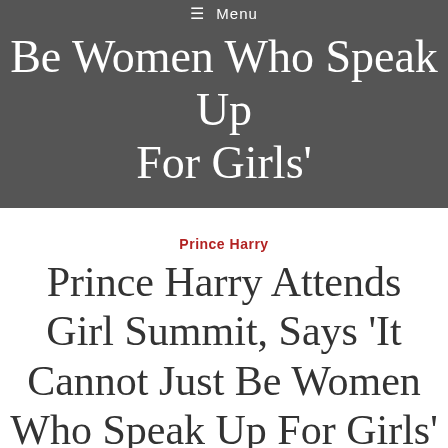≡ Menu
Be Women Who Speak Up For Girls'
Prince Harry
Prince Harry Attends Girl Summit, Says 'It Cannot Just Be Women Who Speak Up For Girls'